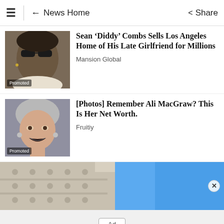≡ ← News Home  Share
[Figure (photo): Photo of Sean Diddy Combs wearing sunglasses]
Sean ‘Diddy’ Combs Sells Los Angeles Home of His Late Girlfriend for Millions
Mansion Global
[Figure (photo): Photo of Ali MacGraw smiling]
[Photos] Remember Ali MacGraw? This Is Her Net Worth.
Fruitiy
[Figure (photo): Ad banner image showing building facade against blue sky]
Ad